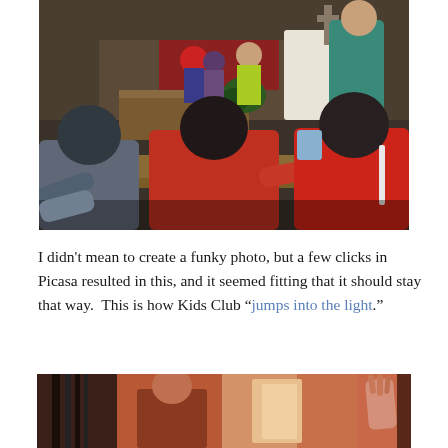[Figure (photo): Children sitting in church pews viewed from behind, facing a stage/altar with a cross; adults visible at the front; indoor church setting with dim lighting.]
I didn't mean to create a funky photo, but a few clicks in Picasa resulted in this, and it seemed fitting that it should stay that way.  This is how Kids Club “jumps into the light.”
[Figure (photo): Partially visible photo showing a reddish-orange toned scene with a figure and what appears to be a raised hand or arm, indoors.]